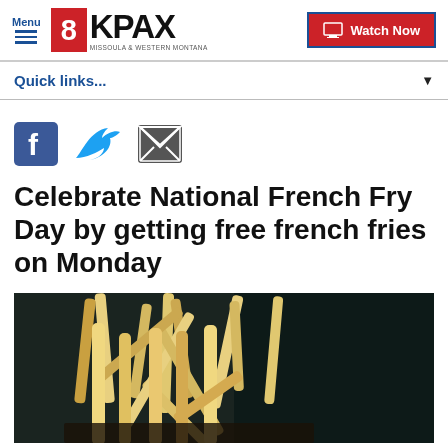Menu | 8KPAX MISSOULA & WESTERN MONTANA | Watch Now
Quick links...
[Figure (other): Social media share icons: Facebook, Twitter, Email]
Celebrate National French Fry Day by getting free french fries on Monday
[Figure (photo): Close-up photo of golden french fries standing upright against a dark background]